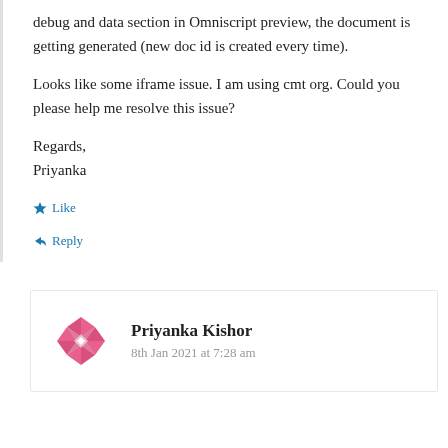debug and data section in Omniscript preview, the document is getting generated (new doc id is created every time).
Looks like some iframe issue. I am using cmt org. Could you please help me resolve this issue?
Regards,
Priyanka
Like
Reply
[Figure (logo): Pink/magenta geometric logo for Priyanka Kishor user avatar]
Priyanka Kishor
8th Jan 2021 at 7:28 am